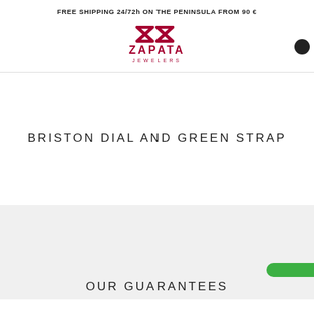FREE SHIPPING 24/72h ON THE PENINSULA FROM 90 €
[Figure (logo): Zapata Jewelers logo in dark red/crimson with stylized ZS letters and ZAPATA JEWELERS text]
BRISTON DIAL AND GREEN STRAP
OUR GUARANTEES